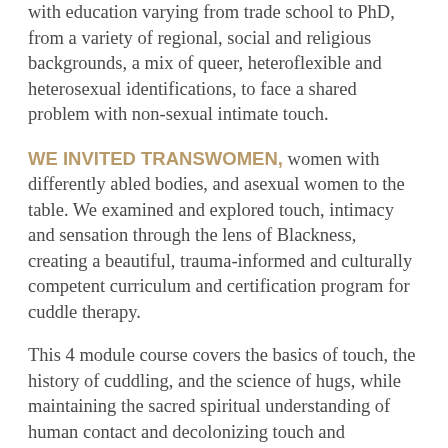with education varying from trade school to PhD, from a variety of regional, social and religious backgrounds, a mix of queer, heteroflexible and heterosexual identifications, to face a shared problem with non-sexual intimate touch.
WE INVITED TRANSWOMEN, women with differently abled bodies, and asexual women to the table. We examined and explored touch, intimacy and sensation through the lens of Blackness, creating a beautiful, trauma-informed and culturally competent curriculum and certification program for cuddle therapy.
This 4 module course covers the basics of touch, the history of cuddling, and the science of hugs, while maintaining the sacred spiritual understanding of human contact and decolonizing touch and connection.